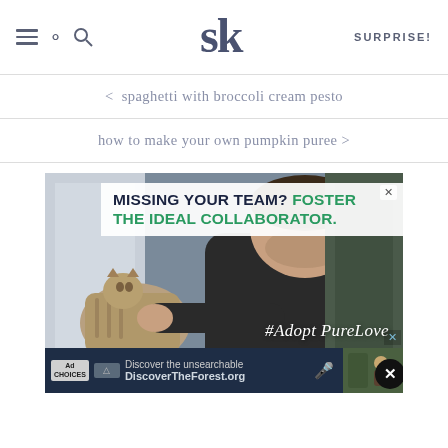SK (logo) — SURPRISE!
< spaghetti with broccoli cream pesto
how to make your own pumpkin puree >
[Figure (photo): Advertisement image showing a man interacting with a tabby cat near a window, with text overlay 'MISSING YOUR TEAM? FOSTER THE IDEAL COLLABORATOR.' and hashtag '#AdoptPureLove'. Below is a sub-banner ad for DiscoverTheForest.org reading 'Discover the unsearchable'.]